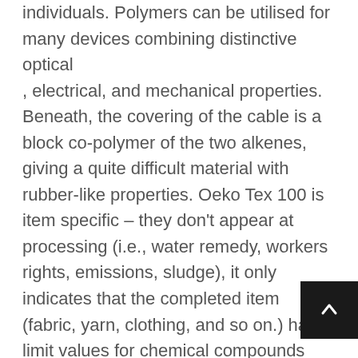individuals. Polymers can be utilised for many devices combining distinctive optical , electrical, and mechanical properties. Beneath, the covering of the cable is a block co-polymer of the two alkenes, giving a quite difficult material with rubber-like properties. Oeko Tex 100 is item specific – they don't appear at processing (i.e., water remedy, workers rights, emissions, sludge), it only indicates that the completed item (fabric, yarn, clothing, and so on.) has limit values for chemical compounds which are under the threshold limits on the Oeko Tex list, with many specifically prohibited. Chemical substances and cleaning products are important in the aircraft washing business and you require to understand which ones can and can't be employed on which surfaces, for corrosion protection and new high-tech lightweight paints. Standard formulation understanding of important technologies